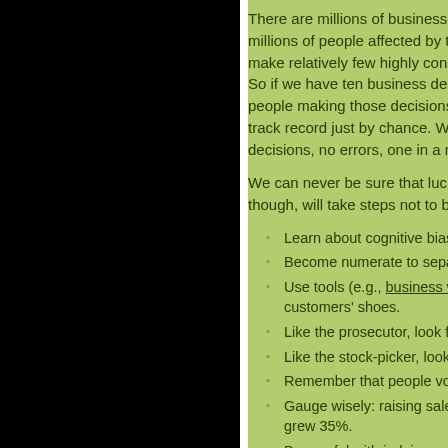There are millions of businesses and millions of people affected by the t... make relatively few highly consequential decisions. So if we have ten business decisions, people making those decisions, we... track record just by chance. We'd ... decisions, no errors, one in a millio...
We can never be sure that luck pla... though, will take steps not to be bli...
Learn about cognitive biase...
Become numerate to separ...
Use tools (e.g., business wa... customers' shoes.
Like the prosecutor, look fo...
Like the stock-picker, look fe...
Remember that people volu...
Gauge wisely: raising sales ... grew 35%.
Be careful with judging resu... too high?